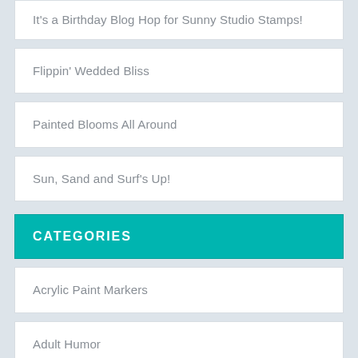It's a Birthday Blog Hop for Sunny Studio Stamps!
Flippin' Wedded Bliss
Painted Blooms All Around
Sun, Sand and Surf's Up!
CATEGORIES
Acrylic Paint Markers
Adult Humor
Animals and Creatures
Anniversary